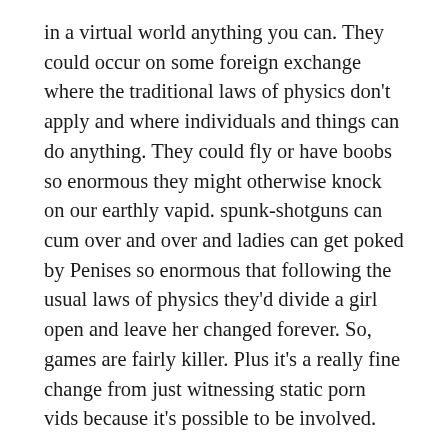in a virtual world anything you can. They could occur on some foreign exchange where the traditional laws of physics don't apply and where individuals and things can do anything. They could fly or have boobs so enormous they might otherwise knock on our earthly vapid. spunk-shotguns can cum over and over and ladies can get poked by Penises so enormous that following the usual laws of physics they'd divide a girl open and leave her changed forever. So, games are fairly killer. Plus it's a really fine change from just witnessing static porn vids because it's possible to be involved.
One or more of these games can lead you to a joy practice that will be just as fulfilling as